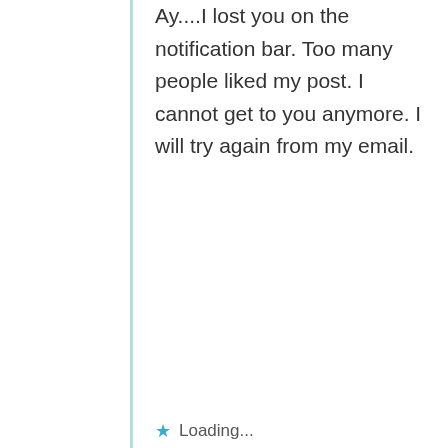Ay....I lost you on the notification bar. Too many people liked my post. I cannot get to you anymore. I will try again from my email.
Loading...
Navin
July 29, 2020 at 11:27 am
Dearest Gabriela, I